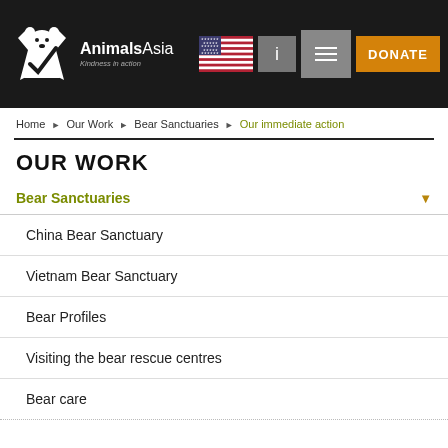[Figure (logo): Animals Asia logo with white bear graphic and text 'AnimalsAsia Kindness in action' on black background]
Home ▶ Our Work ▶ Bear Sanctuaries ▶ Our immediate action
OUR WORK
Bear Sanctuaries
China Bear Sanctuary
Vietnam Bear Sanctuary
Bear Profiles
Visiting the bear rescue centres
Bear care